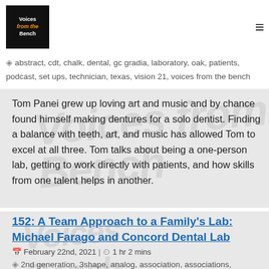Voices from the Bench
abstract, cdt, chalk, dental, gc gradia, laboratory, oak, patients, podcast, set ups, technician, texas, vision 21, voices from the bench
Tom Panei grew up loving art and music and by chance found himself making dentures for a solo dentist. Finding a balance with teeth, art, and music has allowed Tom to excel at all three. Tom talks about being a one-person lab, getting to work directly with patients, and how skills from one talent helps in another.
152: A Team Approach to a Family's Lab: Michael Farago and Concord Dental Lab
February 22nd, 2021 | 1 hr 2 mins
2nd generation, 3shape, analog, association, associations,